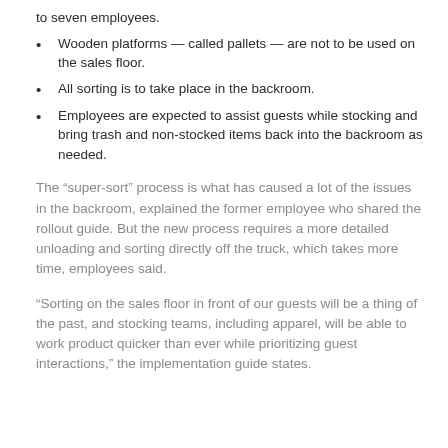to seven employees.
Wooden platforms — called pallets — are not to be used on the sales floor.
All sorting is to take place in the backroom.
Employees are expected to assist guests while stocking and bring trash and non-stocked items back into the backroom as needed.
The “super-sort” process is what has caused a lot of the issues in the backroom, explained the former employee who shared the rollout guide. But the new process requires a more detailed unloading and sorting directly off the truck, which takes more time, employees said.
“Sorting on the sales floor in front of our guests will be a thing of the past, and stocking teams, including apparel, will be able to work product quicker than ever while prioritizing guest interactions,” the implementation guide states.